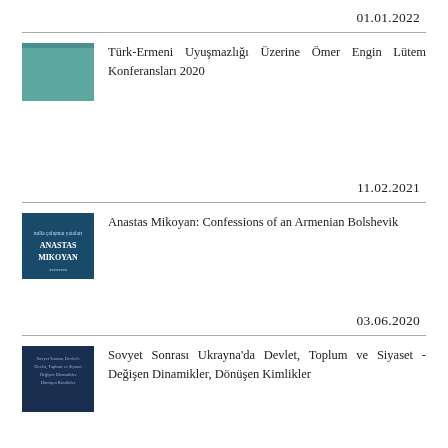01.01.2022
[Figure (illustration): Teal/green colored book cover for Türk-Ermeni Uyuşmazlığı Üzerine Ömer Engin Lütem Konferansları 2020]
Türk-Ermeni Uyuşmazlığı Üzerine Ömer Engin Lütem Konferansları 2020
11.02.2021
[Figure (illustration): Dark teal book cover for Anastas Mikoyan: Confessions of an Armenian Bolshevik, showing author name ANASTAS MIKOYAN]
Anastas Mikoyan: Confessions of an Armenian Bolshevik
03.06.2020
[Figure (illustration): Dark blue book cover for Sovyet Sonrası Ukrayna'da Devlet, Toplum ve Siyaset]
Sovyet Sonrası Ukrayna'da Devlet, Toplum ve Siyaset - Değişen Dinamikler, Dönüşen Kimlikler